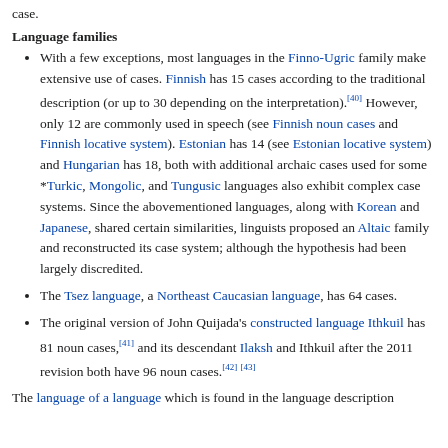case.
Language families
With a few exceptions, most languages in the Finno-Ugric family make extensive use of cases. Finnish has 15 cases according to the traditional description (or up to 30 depending on the interpretation).[40] However, only 12 are commonly used in speech (see Finnish noun cases and Finnish locative system). Estonian has 14 (see Estonian locative system) and Hungarian has 18, both with additional archaic cases used for some *Turkic, Mongolic, and Tungusic languages also exhibit complex case systems. Since the abovementioned languages, along with Korean and Japanese, shared certain similarities, linguists proposed an Altaic family and reconstructed its case system; although the hypothesis had been largely discredited.
The Tsez language, a Northeast Caucasian language, has 64 cases.
The original version of John Quijada's constructed language Ithkuil has 81 noun cases,[41] and its descendant Ilaksh and Ithkuil after the 2011 revision both have 96 noun cases.[42][43]
The language of a language which is found in the language description